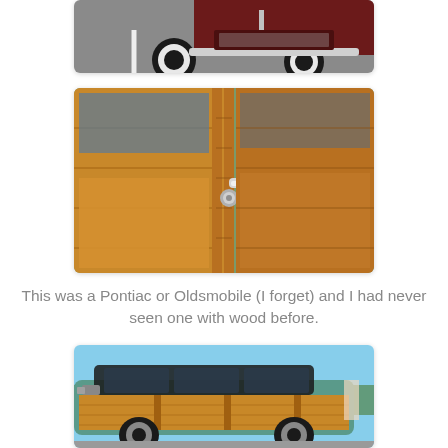[Figure (photo): Partial view of a classic dark red/maroon car from the front, showing whitewall tires and chrome bumper in a parking lot.]
[Figure (photo): Close-up of a classic woody wagon car door showing polished wood paneling and a chrome door handle.]
This was a Pontiac or Oldsmobile (I forget) and I had never seen one with wood before.
[Figure (photo): Side view of a classic woody station wagon with teal/green body and natural wood paneling, parked at a car show.]